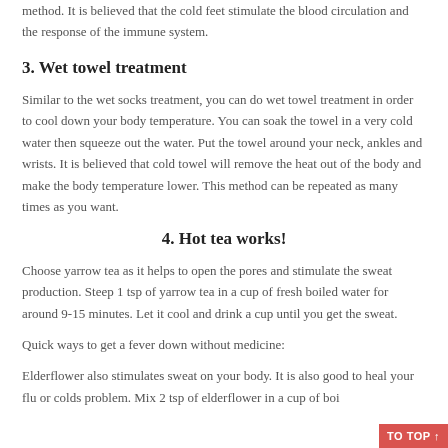method. It is believed that the cold feet stimulate the blood circulation and the response of the immune system.
3. Wet towel treatment
Similar to the wet socks treatment, you can do wet towel treatment in order to cool down your body temperature. You can soak the towel in a very cold water then squeeze out the water. Put the towel around your neck, ankles and wrists. It is believed that cold towel will remove the heat out of the body and make the body temperature lower. This method can be repeated as many times as you want.
4. Hot tea works!
Choose yarrow tea as it helps to open the pores and stimulate the sweat production. Steep 1 tsp of yarrow tea in a cup of fresh boiled water for around 9-15 minutes. Let it cool and drink a cup until you get the sweat.
Quick ways to get a fever down without medicine:
Elderflower also stimulates sweat on your body. It is also good to heal your flu or colds problem. Mix 2 tsp of elderflower in a cup of boi…